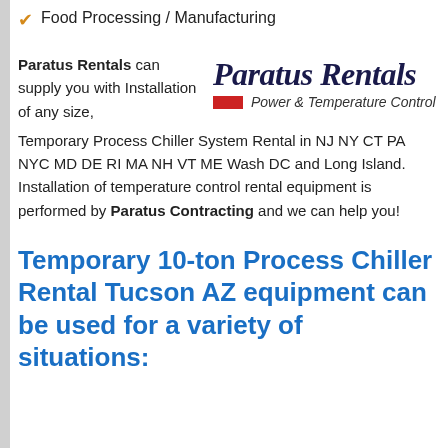Food Processing / Manufacturing
Paratus Rentals can supply you with Installation of any size, Temporary Process Chiller System Rental in NJ NY CT PA NYC MD DE RI MA NH VT ME Wash DC and Long Island. Installation of temperature control rental equipment is performed by Paratus Contracting and we can help you!
[Figure (logo): Paratus Rentals logo with italic serif bold text and red dash bar, tagline: Power & Temperature Control]
Temporary 10-ton Process Chiller Rental Tucson AZ equipment can be used for a variety of situations: